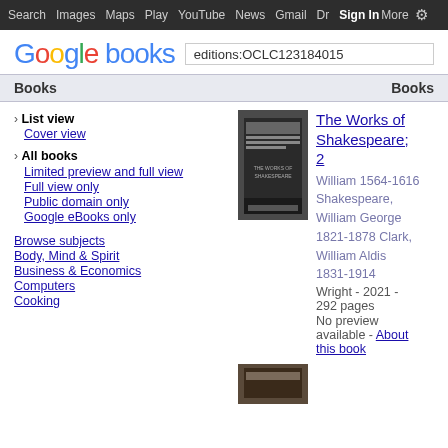Search Images Maps Play YouTube News Gmail Drive More Sign In (settings gear)
Google books — search: editions:OCLC123184015
Books   Books
› List view
Cover view
› All books
Limited preview and full view
Full view only
Public domain only
Google eBooks only
Browse subjects
Body, Mind & Spirit
Business & Economics
Computers
Cooking
[Figure (photo): Book cover thumbnail for The Works of Shakespeare; 2]
The Works of Shakespeare; 2
William 1564-1616 Shakespeare, William George 1821-1878 Clark, William Aldis 1831-1914 Wright - 2021 - 292 pages
No preview available - About this book
[Figure (photo): Second book cover thumbnail (partially visible at bottom)]